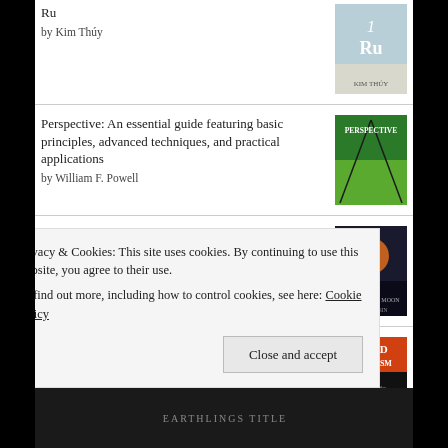Ru by Kim Thúy
Perspective: An essential guide featuring basic principles, advanced techniques, and practical applications by William F. Powell
The Killing Moon by N.K. Jemisin
Hood Feminism: Notes from the Women That a Movement Forgot by Mikki Kendall
Earthlings
Privacy & Cookies: This site uses cookies. By continuing to use this website, you agree to their use.
To find out more, including how to control cookies, see here: Cookie Policy
Close and accept